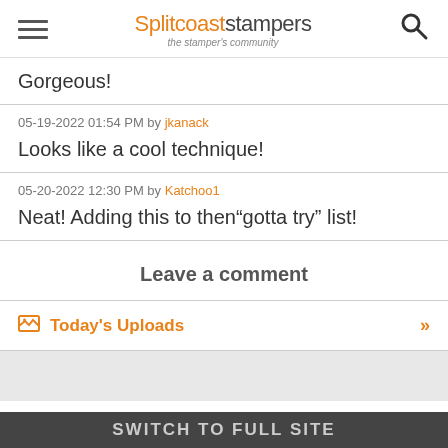Splitcoaststampers — the stamper's community
Gorgeous!
05-19-2022 01:54 PM by jkanack
Looks like a cool technique!
05-20-2022 12:30 PM by Katchoo1
Neat! Adding this to then"gotta try" list!
Leave a comment
Today's Uploads »